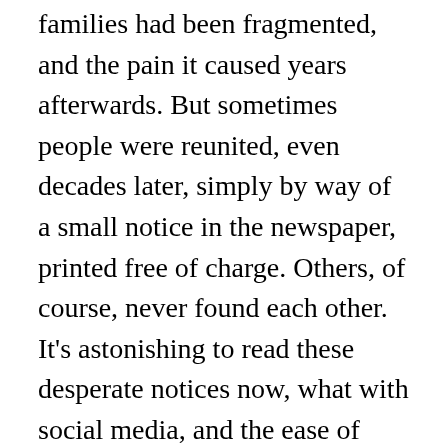families had been fragmented, and the pain it caused years afterwards. But sometimes people were reunited, even decades later, simply by way of a small notice in the newspaper, printed free of charge. Others, of course, never found each other. It's astonishing to read these desperate notices now, what with social media, and the ease of spreading information not just far and wide but instantly.
Richard Vanson left Hanwell at 15, to be apprenticed as a bootmaker. He eventually settled back in his childhood neighbourhood, where he met and married Jennie and made his way into our family